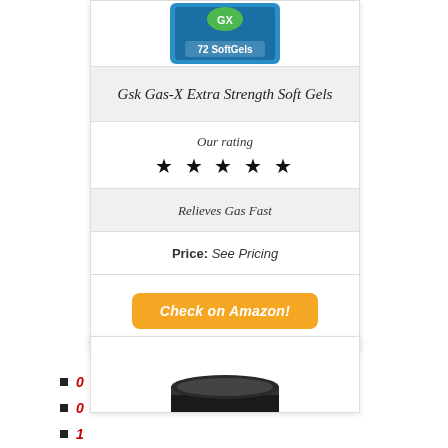[Figure (photo): Product image: Gas-X Extra Strength Soft Gels package, blue/green box with 72 SoftGels text]
Gsk Gas-X Extra Strength Soft Gels
Our rating
★ ★ ★ ★ ★
Relieves Gas Fast
Price: See Pricing
Check on Amazon!
[Figure (photo): Black circular jar/container product image, partially visible at bottom of page]
0
0
1
0